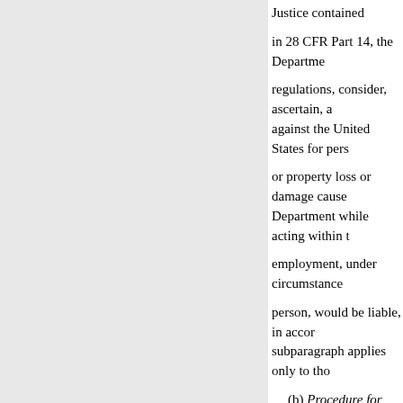Justice contained in 28 CFR Part 14, the Department regulations, consider, ascertain, and adjust claims against the United States for personal injury or property loss or damage caused by employees of the Department while acting within the scope of their employment, under circumstances where a private person, would be liable, in accordance with. This subparagraph applies only to those claims— (b) Procedure for filing claims. A claimant or legal representative as specified in the form may be obtained from the local office of the component that committed the negligent or wrongful act, together with evidence and information, as specified in the form. (c) Determination of claims-(1) such Washington and field employees, including the General Counsel, are hereby authorized to consider claims pursuant to the Federal Tort Claims Act, Part 14 and in this section. This delegation is by General Counsel published in 27 F.R. 591 (2) Allowance of claim. If a cl...